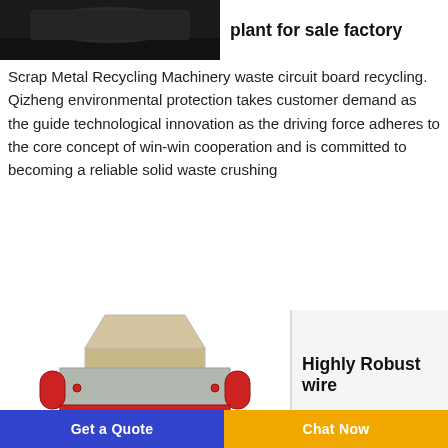[Figure (photo): Dark/black background industrial machinery or recycling plant photo, cropped showing top portion]
plant for sale factory
Scrap Metal Recycling Machinery waste circuit board recycling. Qizheng environmental protection takes customer demand as the guide technological innovation as the driving force adheres to the core concept of win-win cooperation and is committed to becoming a reliable solid waste crushing
[Figure (photo): Industrial shredder/crusher machine with red housing and gray hopper, used for solid waste crushing]
Highly Robust wire
Get a Quote
Chat Now